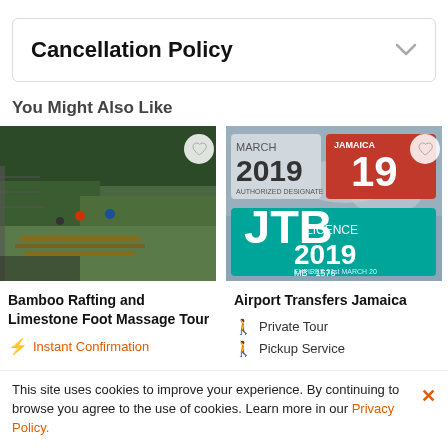Cancellation Policy
You Might Also Like
[Figure (photo): Aerial view of people on bamboo rafts on a river surrounded by trees]
[Figure (photo): Jamaica JTB Licence 2019 plates on a vehicle]
Bamboo Rafting and Limestone Foot Massage Tour
Instant Confirmation
Airport Transfers Jamaica
Private Tour
Pickup Service
This site uses cookies to improve your experience. By continuing to browse you agree to the use of cookies. Learn more in our Privacy Policy.